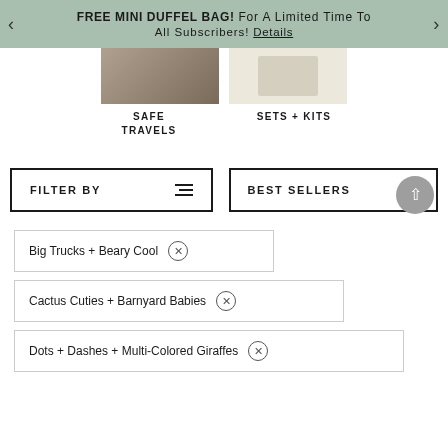FREE MINI DUFFEL BAG! For A Limited Time To All Subscribers! Details
[Figure (photo): Two product category thumbnails: left shows a person (Safe Travels), right shows a light cream background (Sets + Kits)]
SAFE TRAVELS
SETS + KITS
FILTER BY
BEST SELLERS
Big Trucks + Beary Cool ×
Cactus Cuties + Barnyard Babies ×
Dots + Dashes + Multi-Colored Giraffes ×